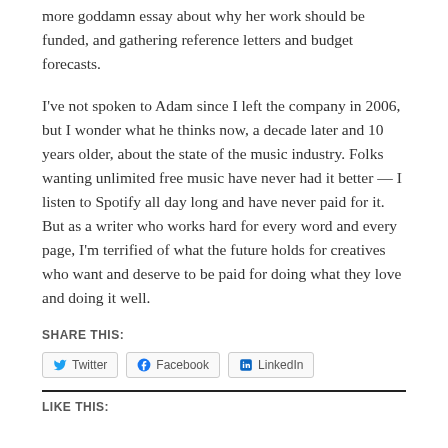more goddamn essay about why her work should be funded, and gathering reference letters and budget forecasts.
I've not spoken to Adam since I left the company in 2006, but I wonder what he thinks now, a decade later and 10 years older, about the state of the music industry. Folks wanting unlimited free music have never had it better — I listen to Spotify all day long and have never paid for it. But as a writer who works hard for every word and every page, I'm terrified of what the future holds for creatives who want and deserve to be paid for doing what they love and doing it well.
SHARE THIS:
Twitter  Facebook  LinkedIn
LIKE THIS: